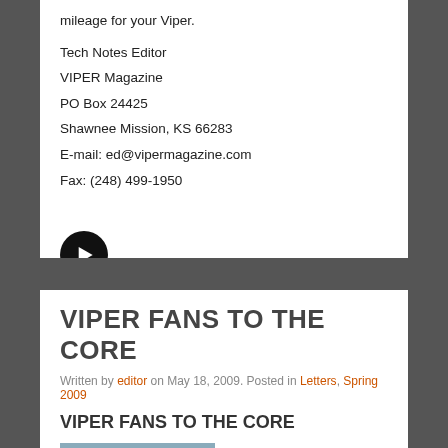mileage for your Viper.
Tech Notes Editor
VIPER Magazine
PO Box 24425
Shawnee Mission, KS  66283
E-mail: ed@vipermagazine.com
Fax: (248) 499-1950
[Figure (other): Black circular button with right-pointing arrow]
VIPER FANS TO THE CORE
Written by editor on May 18, 2009. Posted in Letters, Spring 2009
VIPER FANS TO THE CORE
[Figure (photo): Exterior photo of a brick house]
Harlen and LaDonna Core love their Vipers. We proudly drive